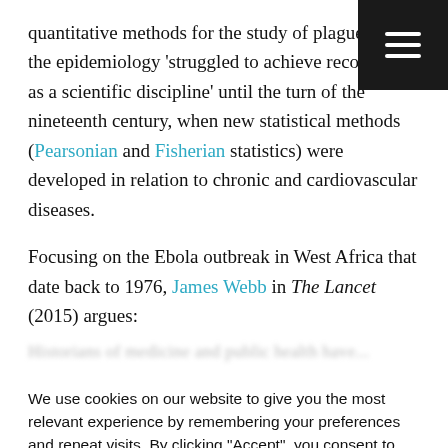quantitative methods for the study of plague, and the epidemiology 'struggled to achieve recognition as a scientific discipline' until the turn of the nineteenth century, when new statistical methods (Pearsonian and Fisherian statistics) were developed in relation to chronic and cardiovascular diseases.
Focusing on the Ebola outbreak in West Africa that date back to 1976, James Webb in The Lancet (2015) argues:
Historians of medicine and public health have...
We use cookies on our website to give you the most relevant experience by remembering your preferences and repeat visits. By clicking "Accept", you consent to the use of ALL the cookies.